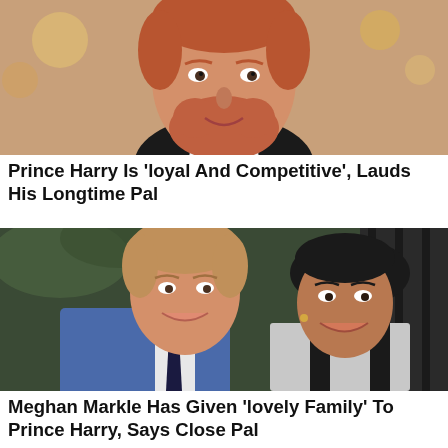[Figure (photo): Close-up photo of Prince Harry in a tuxedo, showing his face and upper chest with red hair and beard, warm indoor background with bokeh lights]
Prince Harry Is ‘loyal And Competitive’, Lauds His Longtime Pal
[Figure (photo): Photo of Prince Harry and Meghan Markle smiling at each other outdoors. Harry wears a blue suit with dark tie, Meghan has long dark hair.]
Meghan Markle Has Given ‘lovely Family’ To Prince Harry, Says Close Pal